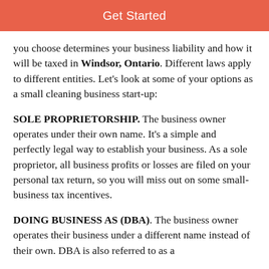Get Started
you choose determines your business liability and how it will be taxed in Windsor, Ontario. Different laws apply to different entities. Let’s look at some of your options as a small cleaning business start-up:
SOLE PROPRIETORSHIP. The business owner operates under their own name. It’s a simple and perfectly legal way to establish your business. As a sole proprietor, all business profits or losses are filed on your personal tax return, so you will miss out on some small-business tax incentives.
DOING BUSINESS AS (DBA). The business owner operates their business under a different name instead of their own. DBA is also referred to as a